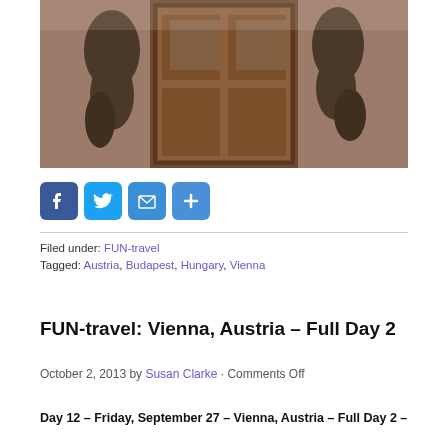[Figure (photo): Photograph of ornate bronze sculpted figures flanking a wooden door on a stone building facade in Vienna]
[Figure (infographic): Social sharing buttons: Facebook, Twitter, Email, Share (plus icon)]
Filed under: FUN-travel
Tagged: Austria, Budapest, Hungary, Vienna
FUN-travel: Vienna, Austria – Full Day 2
October 2, 2013 by Susan Clarke · Comments Off
Day 12 – Friday, September 27 – Vienna, Austria – Full Day 2 –